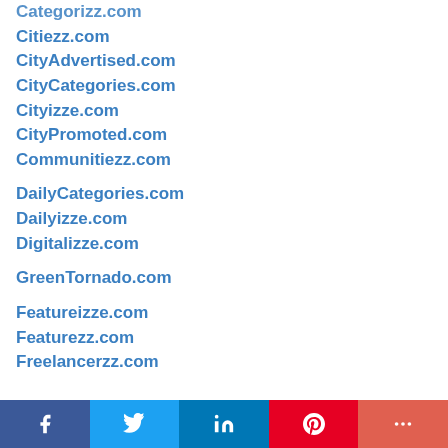Categorizz.com
Citiezz.com
CityAdvertised.com
CityCategories.com
Cityizze.com
CityPromoted.com
Communitiezz.com
DailyCategories.com
Dailyizze.com
Digitalizze.com
GreenTornado.com
Featureizze.com
Featurezz.com
Freelancerzz.com